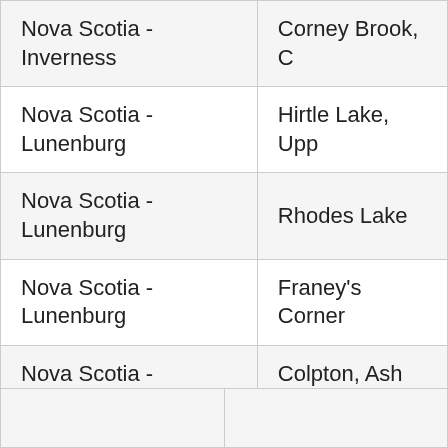| Province/County | Location |
| --- | --- |
| Nova Scotia - Inverness | Corney Brook, C… |
| Nova Scotia - Lunenburg | Hirtle Lake, Upp… |
| Nova Scotia - Lunenburg | Rhodes Lake |
| Nova Scotia - Lunenburg | Franey's Corner… |
| Nova Scotia - Lunenburg | Colpton, Ash Br… |
| Nova Scotia - Queens | Thomas Raddal Provincial Park |
| Nova Scotia - Queens | Main Parkway s… |
| Nova Scotia - Queens | Granite Village |